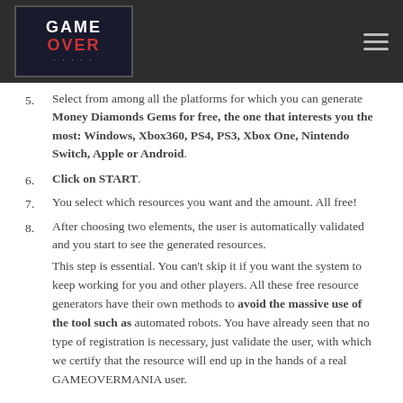GAME OVER (logo) | hamburger menu
5. Select from among all the platforms for which you can generate Money Diamonds Gems for free, the one that interests you the most: Windows, Xbox360, PS4, PS3, Xbox One, Nintendo Switch, Apple or Android.
6. Click on START.
7. You select which resources you want and the amount. All free!
8. After choosing two elements, the user is automatically validated and you start to see the generated resources.
This step is essential. You can't skip it if you want the system to keep working for you and other players. All these free resource generators have their own methods to avoid the massive use of the tool such as automated robots. You have already seen that no type of registration is necessary, just validate the user, with which we certify that the resource will end up in the hands of a real GAMEOVERMANIA user.